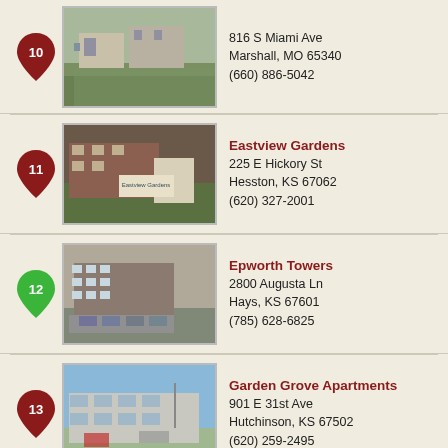[Figure (photo): Photo of apartment building at 816 S Miami Ave, Marshall MO]
816 S Miami Ave
Marshall, MO 65340
(660) 886-5042
Eastview Gardens
[Figure (photo): Photo of Eastview Gardens apartment complex with sign]
225 E Hickory St
Hesston, KS 67062
(620) 327-2001
Epworth Towers
[Figure (photo): Photo of Epworth Towers multi-story apartment building]
2800 Augusta Ln
Hays, KS 67601
(785) 628-6825
Garden Grove Apartments
[Figure (photo): Photo of Garden Grove Apartments exterior]
901 E 31st Ave
Hutchinson, KS 67502
(620) 259-2495